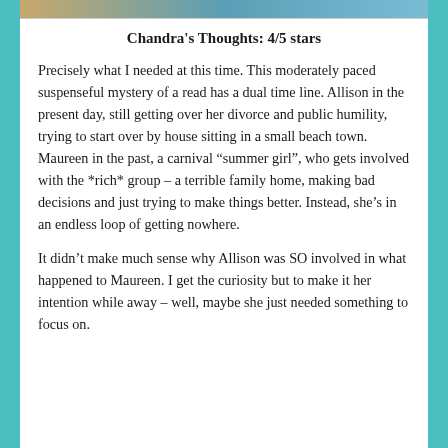[Figure (photo): Partial image strip at top of page showing a blurred outdoor/book scene]
Chandra's Thoughts: 4/5 stars
Precisely what I needed at this time.  This moderately paced suspenseful mystery of a read has a dual time line.  Allison in the present day, still getting over her divorce and public humility, trying to start over by house sitting in a small beach town.  Maureen in the past, a carnival “summer girl”, who gets involved with the *rich* group – a terrible family home, making bad decisions and just trying to make things better.  Instead, she’s in an endless loop of getting nowhere.
It didn’t make much sense why Allison was SO involved in what happened to Maureen.  I get the curiosity but to make it her intention while away – well, maybe she just needed something to focus on.